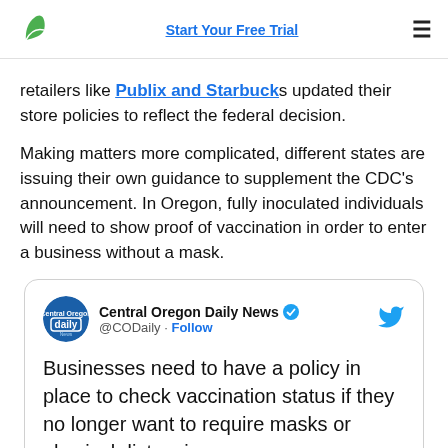Start Your Free Trial
retailers like Publix and Starbucks updated their store policies to reflect the federal decision.
Making matters more complicated, different states are issuing their own guidance to supplement the CDC's announcement. In Oregon, fully inoculated individuals will need to show proof of vaccination in order to enter a business without a mask.
[Figure (screenshot): Embedded tweet from Central Oregon Daily News (@CODaily) with Follow button and Twitter bird logo. Tweet text: Businesses need to have a policy in place to check vaccination status if they no longer want to require masks or physical distancing.]